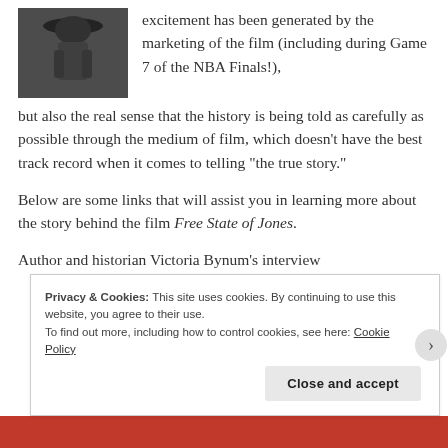[Figure (photo): Black and white photo of a person wearing a wide-brim hat, seen from behind]
excitement has been generated by the marketing of the film (including during Game 7 of the NBA Finals!), but also the real sense that the history is being told as carefully as possible through the medium of film, which doesn't have the best track record when it comes to telling “the true story.”
Below are some links that will assist you in learning more about the story behind the film Free State of Jones.
Author and historian Victoria Bynum’s interview
Privacy & Cookies: This site uses cookies. By continuing to use this website, you agree to their use.
To find out more, including how to control cookies, see here: Cookie Policy
Close and accept